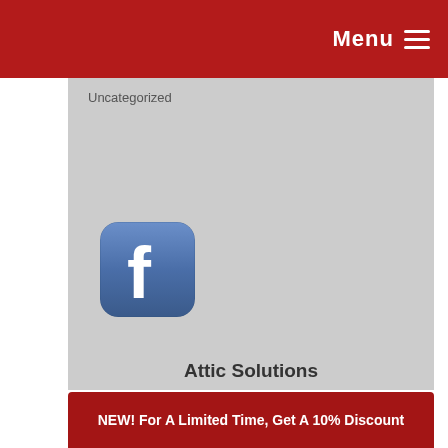Menu
Uncategorized
[Figure (logo): Facebook app icon — rounded square with blue gradient background and white 'f' letter]
Attic Solutions
831 Valley Stream Drive
Pingree Grove, IL 60140
(847) 464-1861
NEW! For A Limited Time, Get A 10% Discount